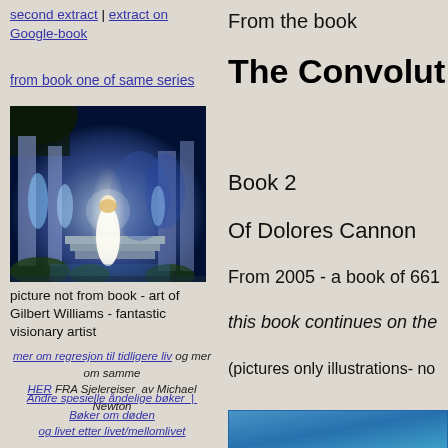second extract | extract on Google-book
from book one of same series
[Figure (illustration): Fantasy/visionary painting showing a glowing female figure in white robes standing on stone steps surrounded by pillars with blue/purple magical light atmosphere]
picture not from book - art of Gilbert Williams - fantastic visionary artist
mer om regresjon til tidligere liv og mer om samme HER FRA Sjelereiser av Michael Newton
Andre spesielle åndelige bøker  |  Bøker om døden og livet etter livet/mellomlivet
From the book
The Convolut
Book 2
Of Dolores Cannon
From 2005 - a book of 661
this book continues on the
(pictures only illustrations- no
[Figure (photo): Blue image/photo partially visible at bottom right of page]